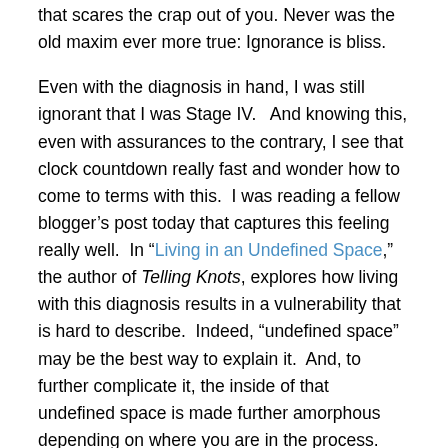that scares the crap out of you. Never was the old maxim ever more true: Ignorance is bliss.
Even with the diagnosis in hand, I was still ignorant that I was Stage IV.  And knowing this, even with assurances to the contrary, I see that clock countdown really fast and wonder how to come to terms with this.  I was reading a fellow blogger’s post today that captures this feeling really well.  In “Living in an Undefined Space,” the author of Telling Knots, explores how living with this diagnosis results in a vulnerability that is hard to describe.  Indeed, “undefined space” may be the best way to explain it.  And, to further complicate it, the inside of that undefined space is made further amorphous depending on where you are in the process.
I am new to the game, so to speak, and have just started my treatment to manage the disease; and my quality of life